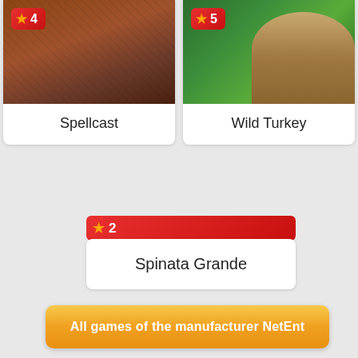[Figure (screenshot): Game card for Spellcast with brown wooden background and badge showing rank 4]
Spellcast
[Figure (screenshot): Game card for Wild Turkey with green jungle background and badge showing rank 5]
Wild Turkey
[Figure (screenshot): Badge showing rank 2 for Spinata Grande]
Spinata Grande
All games of the manufacturer NetEnt